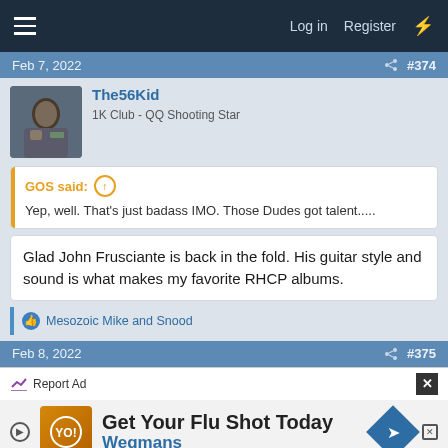Log in  Register
Feb 7, 2022  #374
The56Kid
1K Club - QQ Shooting Star
GOS said:
Yep, well. That's just badass IMO. Those Dudes got talent.....
Glad John Frusciante is back in the fold. His guitar style and sound is what makes my favorite RHCP albums.
Mesozoic Mike and Snood
Feb 8, 2022  #375
Report Ad
Get Your Flu Shot Today
Wegmans